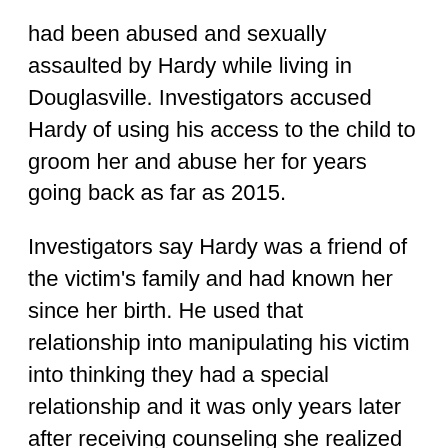had been abused and sexually assaulted by Hardy while living in Douglasville. Investigators accused Hardy of using his access to the child to groom her and abuse her for years going back as far as 2015.
Investigators say Hardy was a friend of the victim's family and had known her since her birth. He used that relationship into manipulating his victim into thinking they had a special relationship and it was only years later after receiving counseling she realized what had happened, officials said.
"In a forensic interview, the victim gave more details and reported numerous acts of degrading and humiliating sexual abuse by Hardy," the Douglas County District Attorney's Office said. "The victim described various objects being used on her during the